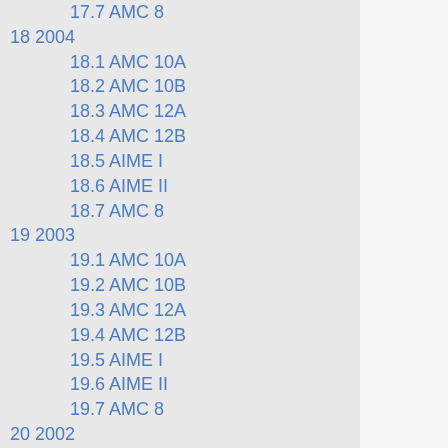17.7 AMC 8
18 2004
18.1 AMC 10A
18.2 AMC 10B
18.3 AMC 12A
18.4 AMC 12B
18.5 AIME I
18.6 AIME II
18.7 AMC 8
19 2003
19.1 AMC 10A
19.2 AMC 10B
19.3 AMC 12A
19.4 AMC 12B
19.5 AIME I
19.6 AIME II
19.7 AMC 8
20 2002
20.1 AMC 10A
20.2 AMC 10B
20.3 AMC 12A